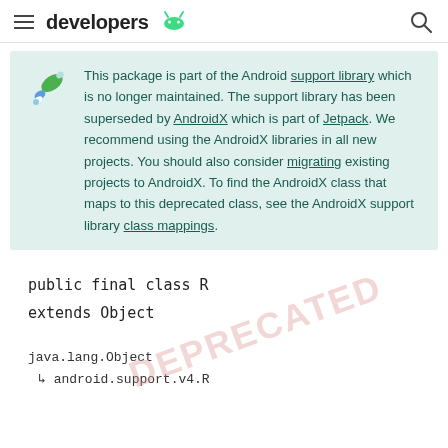developers
This package is part of the Android support library which is no longer maintained. The support library has been superseded by AndroidX which is part of Jetpack. We recommend using the AndroidX libraries in all new projects. You should also consider migrating existing projects to AndroidX. To find the AndroidX class that maps to this deprecated class, see the AndroidX support library class mappings.
java.lang.Object
  ↳ android.support.v4.R